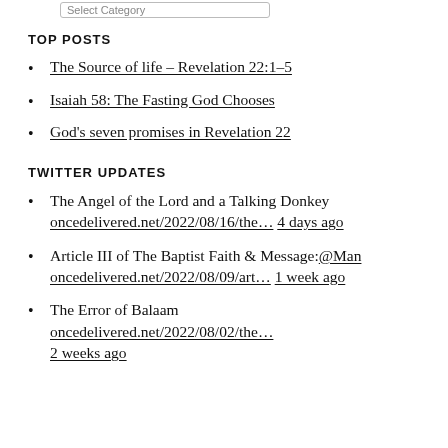Select Category
TOP POSTS
The Source of life – Revelation 22:1–5
Isaiah 58: The Fasting God Chooses
God's seven promises in Revelation 22
TWITTER UPDATES
The Angel of the Lord and a Talking Donkey oncedelivered.net/2022/08/16/the… 4 days ago
Article III of The Baptist Faith & Message:@Man oncedelivered.net/2022/08/09/art… 1 week ago
The Error of Balaam oncedelivered.net/2022/08/02/the… 2 weeks ago